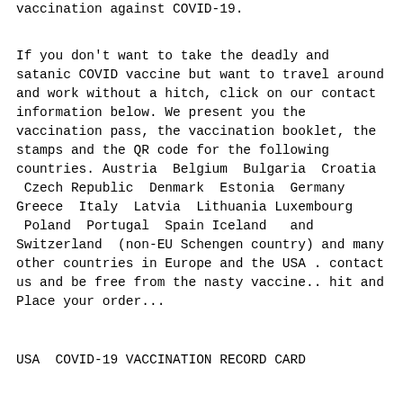vaccination against COVID-19.
If you don't want to take the deadly and satanic COVID vaccine but want to travel around and work without a hitch, click on our contact information below. We present you the vaccination pass, the vaccination booklet, the stamps and the QR code for the following countries. Austria Belgium Bulgaria Croatia Czech Republic Denmark Estonia Germany Greece Italy Latvia Lithuania Luxembourg Poland Portugal Spain Iceland and Switzerland (non-EU Schengen country) and many other countries in Europe and the USA . contact us and be free from the nasty vaccine.. hit and Place your order...
USA COVID-19 VACCINATION RECORD CARD